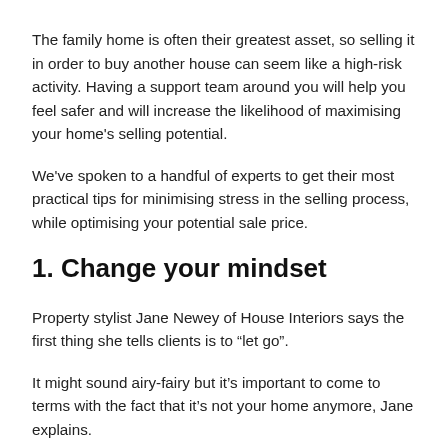The family home is often their greatest asset, so selling it in order to buy another house can seem like a high-risk activity. Having a support team around you will help you feel safer and will increase the likelihood of maximising your home's selling potential.
We've spoken to a handful of experts to get their most practical tips for minimising stress in the selling process, while optimising your potential sale price.
1. Change your mindset
Property stylist Jane Newey of House Interiors says the first thing she tells clients is to “let go”.
It might sound airy-fairy but it’s important to come to terms with the fact that it’s not your home anymore, Jane explains.